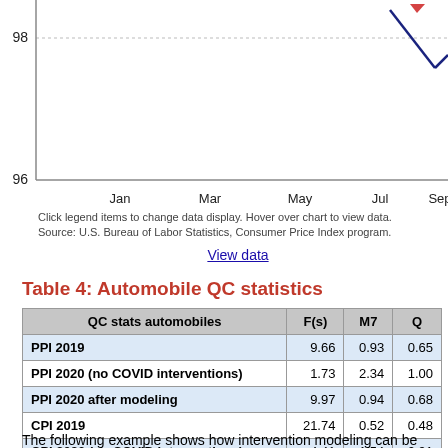[Figure (line-chart): Partial line chart showing y-axis values 96 and 98, x-axis labels Jan, Mar, May, Jul, Sep. A blue/navy line is visible descending at the right side. Chart is cropped at top and right.]
Click legend items to change data display. Hover over chart to view data.
Source: U.S. Bureau of Labor Statistics, Consumer Price Index program.
View data
Table 4: Automobile QC statistics
| QC stats automobiles | F(s) | M7 | Q |
| --- | --- | --- | --- |
| PPI 2019 | 9.66 | 0.93 | 0.65 |
| PPI 2020 (no COVID interventions) | 1.73 | 2.34 | 1.00 |
| PPI 2020 after modeling | 9.97 | 0.94 | 0.68 |
| CPI 2019 | 21.74 | 0.52 | 0.48 |
| CPI 2020 (no COVID interventions) | 4.41 | 1.54 | 0.91 |
| CPI 2020 after modeling | 53.31 | 0.36 | 0.19 |
The following example shows how intervention modeling can be